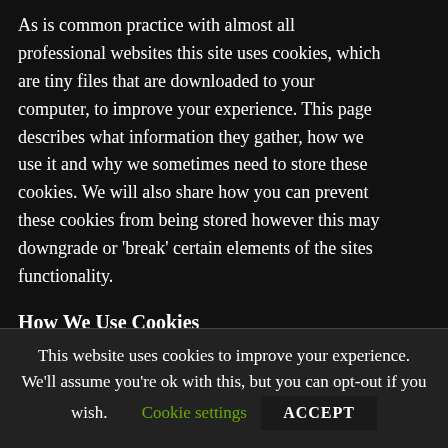As is common practice with almost all professional websites this site uses cookies, which are tiny files that are downloaded to your computer, to improve your experience. This page describes what information they gather, how we use it and why we sometimes need to store these cookies. We will also share how you can prevent these cookies from being stored however this may downgrade or 'break' certain elements of the sites functionality.
How We Use Cookies
We use cookies for a variety of reasons detailed below. Unfortunately in most cases there are no industry standard options for
This website uses cookies to improve your experience. We'll assume you're ok with this, but you can opt-out if you wish.